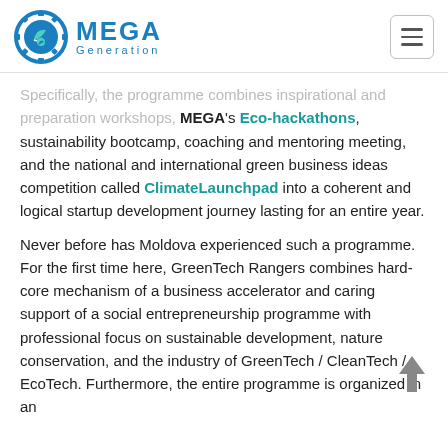MEGA Generation
Specifically, the programme combines inspirational and preparation workshops, MEGA's Eco-hackathons, sustainability bootcamp, coaching and mentoring meeting, and the national and international green business ideas competition called ClimateLaunchpad into a coherent and logical startup development journey lasting for an entire year.
Never before has Moldova experienced such a programme. For the first time here, GreenTech Rangers combines hard-core mechanism of a business accelerator and caring support of a social entrepreneurship programme with professional focus on sustainable development, nature conservation, and the industry of GreenTech / CleanTech / EcoTech. Furthermore, the entire programme is organized in an